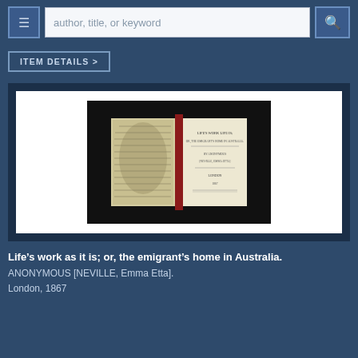author, title, or keyword
ITEM DETAILS >
[Figure (photo): Scanned open book with illustrated left page and title text on right page, displayed against a dark background on a white panel.]
Life’s work as it is; or, the emigrant’s home in Australia.
ANONYMOUS [NEVILLE, Emma Etta].
London, 1867